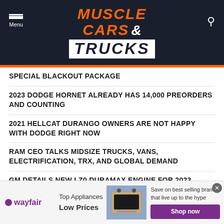[Figure (logo): Muscle Cars & Trucks website header logo on dark navy background with orange MUSCLE CARS text, white & symbol, and white TRUCKS on white background box]
SPECIAL BLACKOUT PACKAGE
2023 DODGE HORNET ALREADY HAS 14,000 PREORDERS AND COUNTING
2021 HELLCAT DURANGO OWNERS ARE NOT HAPPY WITH DODGE RIGHT NOW
RAM CEO TALKS MIDSIZE TRUCKS, VANS, ELECTRIFICATION, TRX, AND GLOBAL DEMAND
GM DETAILS NEW LZ0 DURAMAX ENGINE FOR 2023 SILVERADO AND SIERRA 1500 TRUCKS
DODGE CHARGER DAYTONA BANSHEE CONCEPT INTERIOR DESIGN IS A RETRO SPACESHIP
[Figure (infographic): Wayfair advertisement banner: Top Appliances Low Prices, Save on best selling brands that live up to the hype, Shop now button]